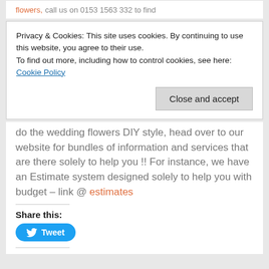flowers, call us on 0153 1563 332 to find
Privacy & Cookies: This site uses cookies. By continuing to use this website, you agree to their use.
To find out more, including how to control cookies, see here: Cookie Policy
Close and accept
do the wedding flowers DIY style, head over to our website for bundles of information and services that are there solely to help you !! For instance, we have an Estimate system designed solely to help you with budget – link @ estimates
Share this:
Tweet